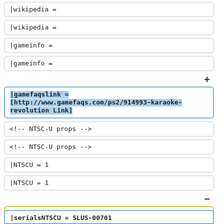|wikipedia         =
|wikipedia         =
|gameinfo          =
|gameinfo          =
+
|gamefaqslink       = [http://www.gamefaqs.com/ps2/914993-karaoke-revolution Link]
<!-- NTSC-U props -->
<!-- NTSC-U props -->
|NTSCU             = 1
|NTSCU             = 1
-
|serialsNTSCU       =
+
|serialsNTSCU       = SLUS-00701